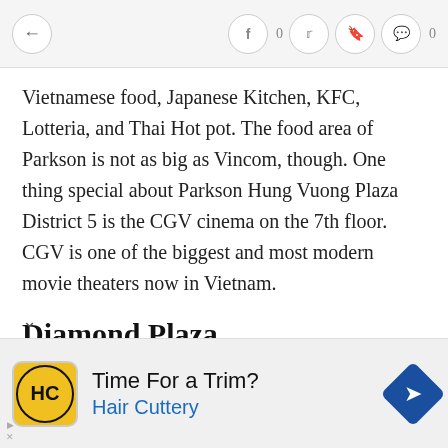← [navigation bar with social icons] f 0  [twitter] [bookmark] [comment] 0
Vietnamese food, Japanese Kitchen, KFC, Lotteria, and Thai Hot pot. The food area of Parkson is not as big as Vincom, though. One thing special about Parkson Hung Vuong Plaza District 5 is the CGV cinema on the 7th floor. CGV is one of the biggest and most modern movie theaters now in Vietnam.
Diamond Plaza
Located at 34 Le Duan Street, District 1, just adjacent
tre Dame Cathedral, Diamond Plaza is also a big
[Figure (other): Advertisement banner: Hair Cuttery ad with logo showing HC initials in yellow circle, text 'Time For a Trim?' and 'Hair Cuttery' in blue, navigation arrow icon on right]